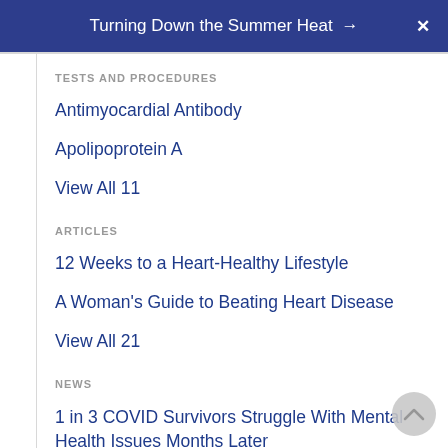Turning Down the Summer Heat →  X
TESTS AND PROCEDURES
Antimyocardial Antibody
Apolipoprotein A
View All 11
ARTICLES
12 Weeks to a Heart-Healthy Lifestyle
A Woman's Guide to Beating Heart Disease
View All 21
NEWS
1 in 3 COVID Survivors Struggle With Mental Health Issues Months Later
1 in 4 Heart Attacks Arrive With 'Atypical' Symptoms